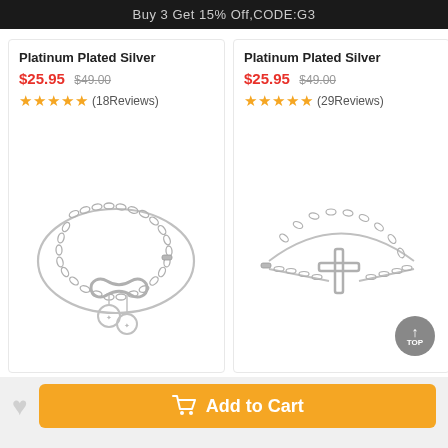Buy 3 Get 15% Off,CODE:G3
Platinum Plated Silver
$25.95 $49.00
★★★★★ (18Reviews)
Platinum Plated Silver
$25.95 $49.00
★★★★★ (29Reviews)
[Figure (photo): Platinum plated silver infinity bracelet with two small disc charms on a chain]
[Figure (photo): Platinum plated silver cross bracelet on a delicate chain]
Add to Cart